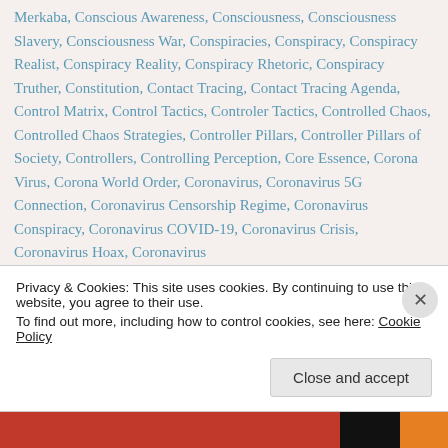Merkaba, Conscious Awareness, Consciousness, Consciousness Slavery, Consciousness War, Conspiracies, Conspiracy, Conspiracy Realist, Conspiracy Reality, Conspiracy Rhetoric, Conspiracy Truther, Constitution, Contact Tracing, Contact Tracing Agenda, Control Matrix, Control Tactics, Controler Tactics, Controlled Chaos, Controlled Chaos Strategies, Controller Pillars, Controller Pillars of Society, Controllers, Controlling Perception, Core Essence, Corona Virus, Corona World Order, Coronavirus, Coronavirus 5G Connection, Coronavirus Censorship Regime, Coronavirus Conspiracy, Coronavirus COVID-19, Coronavirus Crisis, Coronavirus Hoax, Coronavirus
Privacy & Cookies: This site uses cookies. By continuing to use this website, you agree to their use. To find out more, including how to control cookies, see here: Cookie Policy